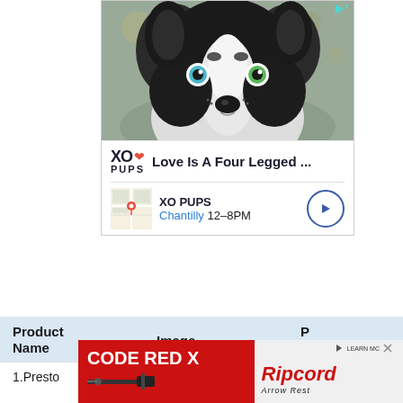[Figure (screenshot): Advertisement for XO PUPS showing a close-up photo of a black and white border collie puppy with heterochromia eyes, along with XO PUPS logo, tagline 'Love Is A Four Legged ...', location map thumbnail, 'XO PUPS', 'Chantilly 12-8PM', and a navigation arrow button]
| Product Name | Image |  |
| --- | --- | --- |
| 1.Presto |  |  |
[Figure (screenshot): Advertisement banner for CODE RED X and Ripcord Arrow Rest on red background]